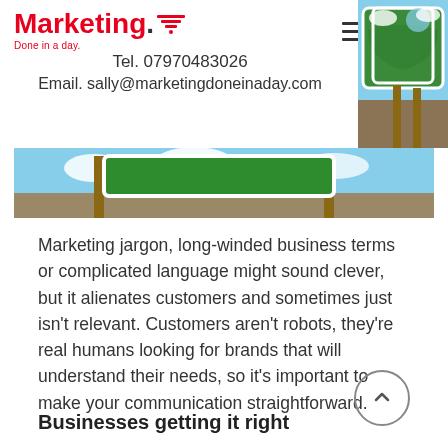Marketing. Done in a day.
Tel. 07970483026
Email. sally@marketingdoneinaday.com
[Figure (photo): Outdoor directional road sign (green) mounted on wooden posts against a blue sky with clouds.]
Marketing jargon, long-winded business terms or complicated language might sound clever, but it alienates customers and sometimes just isn't relevant. Customers aren't robots, they're real humans looking for brands that will understand their needs, so it's important to make your communication straightforward.
Businesses getting it right